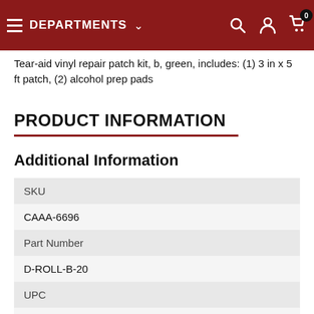DEPARTMENTS
Tear-aid vinyl repair patch kit, b, green, includes: (1) 3 in x 5 ft patch, (2) alcohol prep pads
PRODUCT INFORMATION
Additional Information
| Field | Value |
| --- | --- |
| SKU |  |
|  | CAAA-6696 |
| Part Number |  |
|  | D-ROLL-B-20 |
| UPC |  |
|  | 699337242650 |
| Related Departments |  |